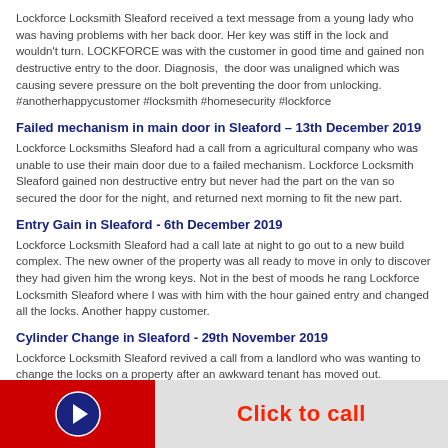Lockforce Locksmith Sleaford received a text message from a young lady who was having problems with her back door. Her key was stiff in the lock and wouldn't turn. LOCKFORCE was with the customer in good time and gained non destructive entry to the door. Diagnosis, the door was unaligned which was causing severe pressure on the bolt preventing the door from unlocking. #anotherhappycustomer #locksmith #homesecurity #lockforce
Failed mechanism in main door in Sleaford – 13th December 2019
Lockforce Locksmiths Sleaford had a call from a agricultural company who was unable to use their main door due to a failed mechanism. Lockforce Locksmith Sleaford gained non destructive entry but never had the part on the van so secured the door for the night, and returned next morning to fit the new part.
Entry Gain in Sleaford - 6th December 2019
Lockforce Locksmith Sleaford had a call late at night to go out to a new build complex. The new owner of the property was all ready to move in only to discover they had given him the wrong keys. Not in the best of moods he rang Lockforce Locksmith Sleaford where I was with him with the hour gained entry and changed all the locks. Another happy customer.
Cylinder Change in Sleaford - 29th November 2019
Lockforce Locksmith Sleaford revived a call from a landlord who was wanting to change the locks on a property after an awkward tenant has moved out. Lockforce Locksmith Sleaford was I the area and had it changed with in 30 minutes. Happy customer.
Click to call